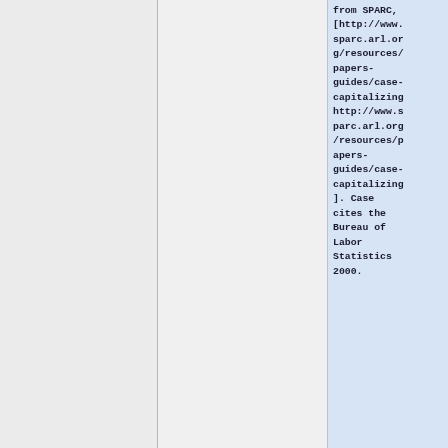from SPARC, [http://www.sparc.arl.org/resources/papers-guides/case-capitalizing http://www.sparc.arl.org/resources/papers-guides/case-capitalizing]. Case cites the Bureau of Labor Statistics 2000.
|  |  |  |
|  | <span> | <span> |